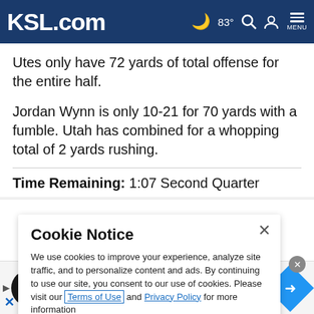KSL.com  83°  MENU
Utes only have 72 yards of total offense for the entire half.
Jordan Wynn is only 10-21 for 70 yards with a fumble. Utah has combined for a whopping total of 2 yards rushing.
Time Remaining: 1:07 Second Quarter
Cookie Notice
We use cookies to improve your experience, analyze site traffic, and to personalize content and ads. By continuing to use our site, you consent to our use of cookies. Please visit our Terms of Use and  Privacy Policy for more information
[Figure (infographic): Advertisement banner with In-store shopping text, circular logo, and blue diamond icon]